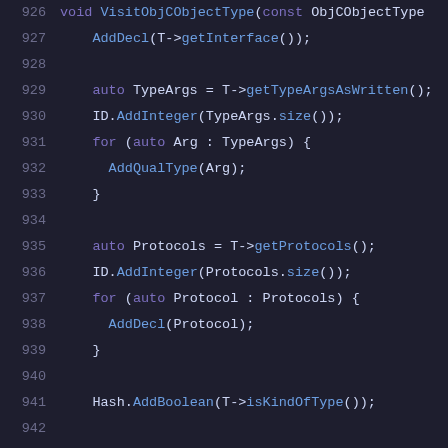926   void VisitObjCObjectType(const ObjcObjectType
927     AddDecl(T->getInterface());
928
929     auto TypeArgs = T->getTypeArgsAsWritten();
930     ID.AddInteger(TypeArgs.size());
931     for (auto Arg : TypeArgs) {
932       AddQualType(Arg);
933     }
934
935     auto Protocols = T->getProtocols();
936     ID.AddInteger(Protocols.size());
937     for (auto Protocol : Protocols) {
938       AddDecl(Protocol);
939     }
940
941     Hash.AddBoolean(T->isKindOfType());
942
943     VisitType(T);
944   }
945
946   void VisitObjCInterfaceType(const ObjCInterfa
947     // This type is handled by the parent type